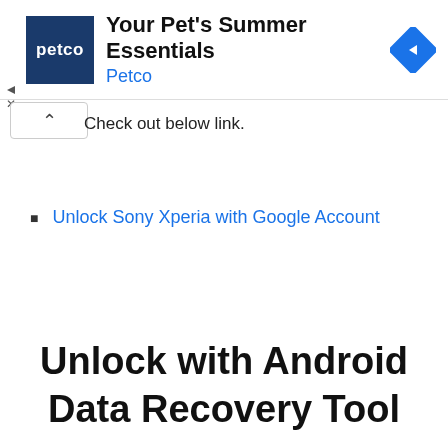[Figure (screenshot): Petco advertisement banner with Petco logo (dark blue background with white text 'petco'), ad headline 'Your Pet's Summer Essentials', advertiser name 'Petco' in blue, and a blue diamond navigation icon on the right. Small play and close icons on the left edge.]
Check out below link.
Unlock Sony Xperia with Google Account
Unlock with Android Data Recovery Tool